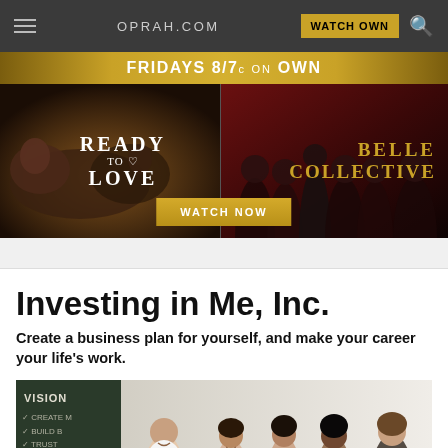OPRAH.COM
[Figure (screenshot): Oprah.com website navigation bar with hamburger menu, OPRAH.COM logo, WATCH OWN button, and search icon on dark gray background]
[Figure (infographic): TV show promotional banner: FRIDAYS 8/7c ON OWN. Shows 'READY TO LOVE' on left with couple image and 'BELLE COLLECTIVE' on right with group of women. WATCH NOW button in center bottom.]
Investing in Me, Inc.
Create a business plan for yourself, and make your career your life's work.
[Figure (photo): Women in a business/classroom setting with a chalkboard showing words like VISION, CREATE, BUILD, TRUST, MAKE in the background. Several women standing and smiling.]